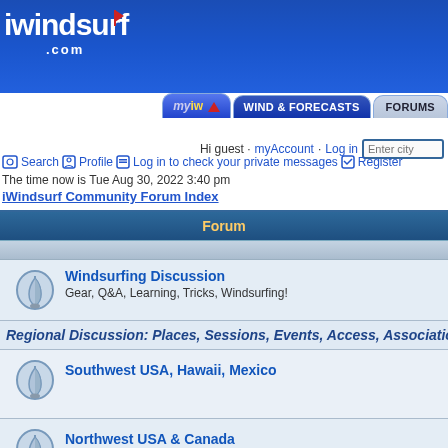[Figure (screenshot): iWindsurf.com website header with blue background and logo]
myiw | WIND & FORECASTS | FORUMS | Hi guest · myAccount · Log in | Enter city
Search  Profile  Log in to check your private messages  Register
The time now is Tue Aug 30, 2022 3:40 pm
iWindsurf Community Forum Index
| Forum |
| --- |
| Windsurfing Discussion
Gear, Q&A, Learning, Tricks, Windsurfing! |
| Regional Discussion: Places, Sessions, Events, Access, Associations... |
| Southwest USA, Hawaii, Mexico |
| Northwest USA & Canada |
| Eastern and Central USA & Canada |
| Europe, Caribbean & S. America, Australia & NZ, Africa, Asia |